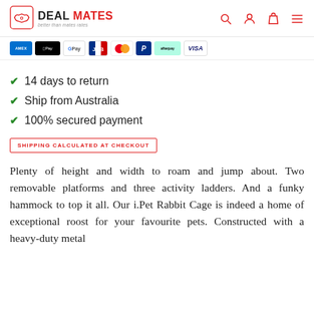DEAL MATES - better than mates rates
[Figure (other): Payment method badges: Amex, Apple Pay, Google Pay, JCB, Mastercard, PayPal, Afterpay, Visa]
14 days to return
Ship from Australia
100% secured payment
SHIPPING CALCULATED AT CHECKOUT
Plenty of height and width to roam and jump about. Two removable platforms and three activity ladders. And a funky hammock to top it all. Our i.Pet Rabbit Cage is indeed a home of exceptional roost for your favourite pets. Constructed with a heavy-duty metal